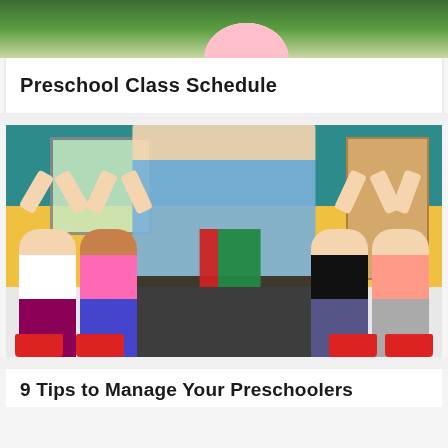[Figure (photo): Cropped top portion of a webpage banner showing green foliage and a child in a pink hat]
Preschool Class Schedule
[Figure (photo): A smiling blonde female teacher in a blue denim shirt holding red and green notebooks, standing in front of a colorful preschool classroom with children raising their hands on red chairs. Walls are teal and yellow.]
9 Tips to Manage Your Preschoolers